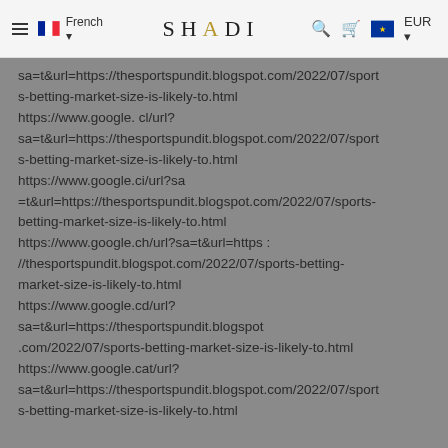SHADI — French EUR
sa=t&url=https://thesportspundit.blogspot.com/2022/07/sports-betting-market-size-is-likely-to.html https://www.google.cl/url?sa=t&url=https://thesportspundit.blogspot.com/2022/07/sports-betting-market-size-is-likely-to.html https://www.google.ci/url?sa=t&url=https://thesportspundit.blogspot.com/2022/07/sports-betting-market-size-is-likely-to.html https://www.google.ch/url?sa=t&url=https://thesportspundit.blogspot.com/2022/07/sports-betting-market-size-is-likely-to.html https://www.google.cd/url?sa=t&url=https://thesportspundit.blogspot.com/2022/07/sports-betting-market-size-is-likely-to.html https://www.google.cat/url?sa=t&url=https://thesportspundit.blogspot.com/2022/07/sports-betting-market-size-is-likely-to.html